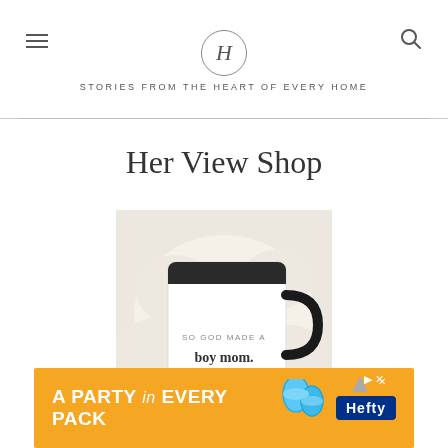H — STORIES FROM THE HEART OF EVERY HOME
Her View Shop
[Figure (photo): A white ceramic mug with black interior and handle, sitting in a fluffy white material. The mug reads 'so god made a boy mom.' in serif text.]
[Figure (screenshot): Advertisement banner: orange background with text 'A PARTY in EVERY PACK' and Hefty brand logo with blue plastic plates/cups imagery.]